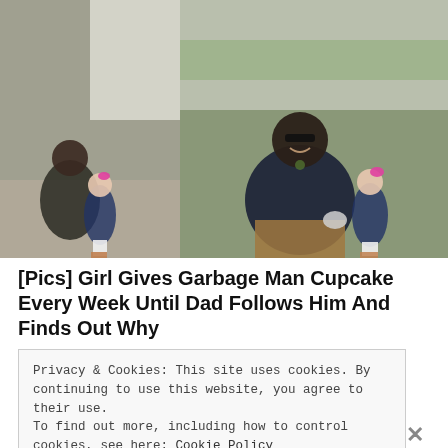[Figure (photo): Two side-by-side photos: left shows a garbage man crouching down with a small girl handing him something; right shows the same garbage man kneeling and smiling with the girl beside a garbage truck.]
[Pics] Girl Gives Garbage Man Cupcake Every Week Until Dad Follows Him And Finds Out Why
Privacy & Cookies: This site uses cookies. By continuing to use this website, you agree to their use.
To find out more, including how to control cookies, see here: Cookie Policy
Close and accept